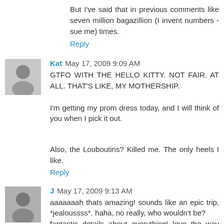But I've said that in previous comments like seven million bagazillion (I invent numbers - sue me) times.
Reply
Kat  May 17, 2009 9:09 AM
GTFO WITH THE HELLO KITTY. NOT FAIR. AT ALL. THAT'S LIKE, MY MOTHERSHIP.

I'm getting my prom dress today, and I will think of you when I pick it out.

Also, the Louboutins? Killed me. The only heels I like.
Reply
J  May 17, 2009 9:13 AM
aaaaaaah thats amazing! sounds like an epic trip, *jealoussss*. haha, no really, who wouldn't be?
fantastic details about everything! love the way they